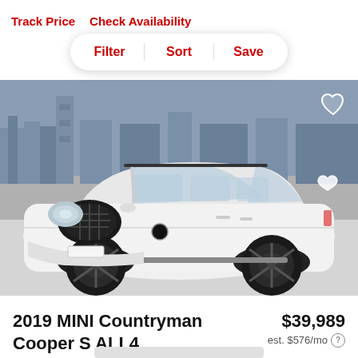Track Price   Check Availability
Filter | Sort | Save
[Figure (photo): White 2019 MINI Cooper Countryman S ALL4 SUV photographed in a showroom with a London skyline backdrop mural. The vehicle is shown from a front three-quarter angle, featuring black wheels, black trim, and a distinctive MINI grille.]
2019 MINI Countryman Cooper S ALL4
$39,989
est. $576/mo